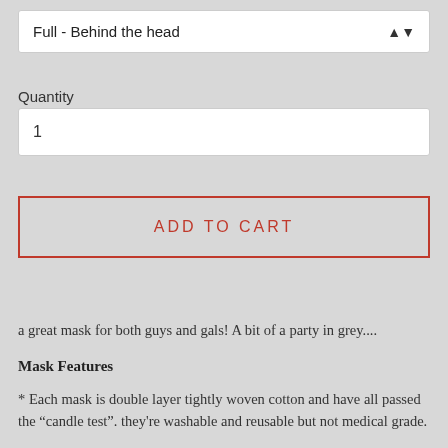[Figure (screenshot): Dropdown selector showing 'Full - Behind the head' with up/down arrow]
Quantity
[Figure (screenshot): Quantity input box showing value 1]
[Figure (screenshot): ADD TO CART button with red border]
a great mask for both guys and gals! A bit of a party in grey....
Mask Features
* Each mask is double layer tightly woven cotton and have all passed the “candle test". they're washable and reusable but not medical grade.